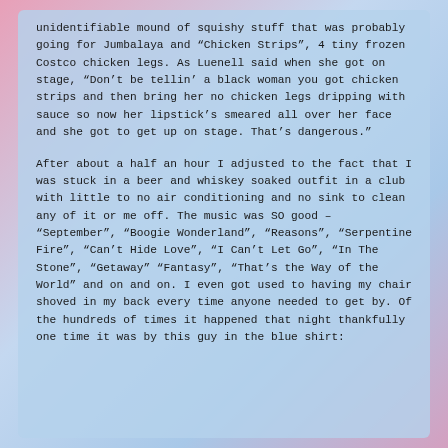unidentifiable mound of squishy stuff that was probably going for Jumbalaya and “Chicken Strips”, 4 tiny frozen Costco chicken legs. As Luenell said when she got on stage, “Don’t be tellin’ a black woman you got chicken strips and then bring her no chicken legs dripping with sauce so now her lipstick’s smeared all over her face and she got to get up on stage. That’s dangerous.”
After about a half an hour I adjusted to the fact that I was stuck in a beer and whiskey soaked outfit in a club with little to no air conditioning and no sink to clean any of it or me off. The music was SO good – “September”, “Boogie Wonderland”, “Reasons”, “Serpentine Fire”, “Can’t Hide Love”, “I Can’t Let Go”, “In The Stone”, “Getaway” “Fantasy”, “That’s the Way of the World” and on and on. I even got used to having my chair shoved in my back every time anyone needed to get by. Of the hundreds of times it happened that night thankfully one time it was by this guy in the blue shirt: